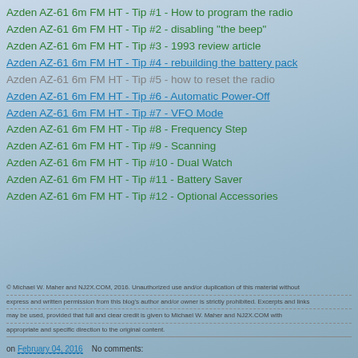Azden AZ-61 6m FM HT - Tip #1 - How to program the radio
Azden AZ-61 6m FM HT - Tip #2 - disabling "the beep"
Azden AZ-61 6m FM HT - Tip #3 - 1993 review article
Azden AZ-61 6m FM HT - Tip #4 - rebuilding the battery pack
Azden AZ-61 6m FM HT - Tip #5 - how to reset the radio
Azden AZ-61 6m FM HT - Tip #6 - Automatic Power-Off
Azden AZ-61 6m FM HT - Tip #7 - VFO Mode
Azden AZ-61 6m FM HT - Tip #8 - Frequency Step
Azden AZ-61 6m FM HT - Tip #9 - Scanning
Azden AZ-61 6m FM HT - Tip #10 - Dual Watch
Azden AZ-61 6m FM HT - Tip #11 - Battery Saver
Azden AZ-61 6m FM HT - Tip #12 - Optional Accessories
© Michael W. Maher and NJ2X.COM, 2016. Unauthorized use and/or duplication of this material without express and written permission from this blog's author and/or owner is strictly prohibited. Excerpts and links may be used, provided that full and clear credit is given to Michael W. Maher and NJ2X.COM with appropriate and specific direction to the original content.
on February 04, 2016    No comments: